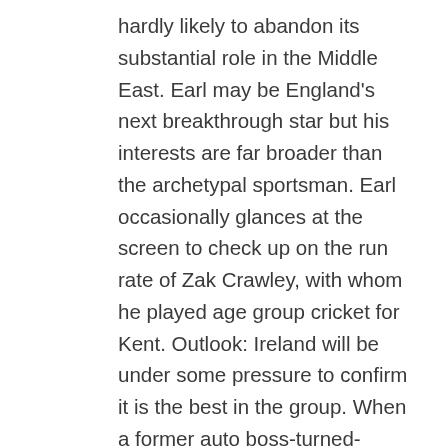hardly likely to abandon its substantial role in the Middle East. Earl may be England's next breakthrough star but his interests are far broader than the archetypal sportsman. Earl occasionally glances at the screen to check up on the run rate of Zak Crawley, with whom he played age group cricket for Kent. Outlook: Ireland will be under some pressure to confirm it is the best in the group. When a former auto boss-turned-suspect does a Houdini act and vanishes from Japan, and mysteriously reappears in Lebanon, questions will be raised. So: Fans can´t trust the game they´re watching is on the up-and-up, and Mr. Manfred´s weak response will hardly act as a deterrent against future cheating. Safety will always be our top